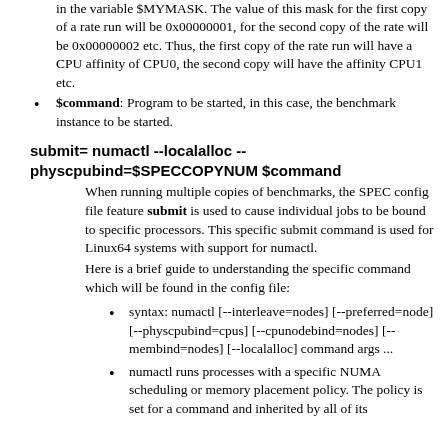in the variable $MYMASK. The value of this mask for the first copy of a rate run will be 0x00000001, for the second copy of the rate will be 0x00000002 etc. Thus, the first copy of the rate run will have a CPU affinity of CPU0, the second copy will have the affinity CPU1 etc.
$command: Program to be started, in this case, the benchmark instance to be started.
submit= numactl --localalloc --physcpubind=$SPECCOPYNUM $command
When running multiple copies of benchmarks, the SPEC config file feature submit is used to cause individual jobs to be bound to specific processors. This specific submit command is used for Linux64 systems with support for numactl.
Here is a brief guide to understanding the specific command which will be found in the config file:
syntax: numactl [--interleave=nodes] [--preferred=node] [--physcpubind=cpus] [--cpunodebind=nodes] [--membind=nodes] [--localalloc] command args ...
numactl runs processes with a specific NUMA scheduling or memory placement policy. The policy is set for a command and inherited by all of its